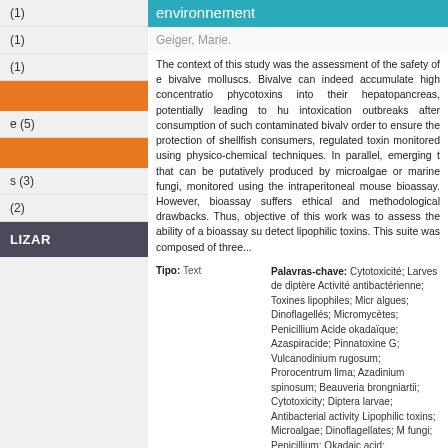(1)
(1)
(1)
(1)
e (5)
s (3)
(2)
LIZAR
environnement
Geiger, Marie.
The context of this study was the assessment of the safety of e bivalve molluscs. Bivalve can indeed accumulate high concentrations phycotoxins into their hepatopancreas, potentially leading to hu intoxication outbreaks after consumption of such contaminated bivalve order to ensure the protection of shellfish consumers, regulated toxin monitored using physico-chemical techniques. In parallel, emerging to that can be putatively produced by microalgae or marine fungi, monitored using the intraperitoneal mouse bioassay. However, bioassay suffers ethical and methodological drawbacks. Thus, objective of this work was to assess the ability of a bioassay sui detect lipophilic toxins. This suite was composed of three...
Tipo: Text
Palavras-chave: Cytotoxicité; Larves de diptère; Activité antibactérienne; Toxines lipophiles; Microalgues; Dinoflagellés; Micromycètes; Penicillium; Acide okadaïque; Azaspiracide; Pinnatoxine G; Vulcanodinium rugosum; Prorocentrum lima; Azadinium spinosum; Beauveria brongniartii; Cytotoxicity; Diptera larvae; Antibacterial activity; Lipophilic toxins; Microalgae; Dinoflagellates; Marine fungi; Penicillium; Okadaic acid; Azaspiracid; Pinnatoxin G; Vulcanodinium rugosum; Azadinium spinosum; Prorocentrum lima; Beauveria brongniartii.
Ano: 2013
URL:
http://archimer.ifremer.fr/doc/00183/29426/2778
Field and mesocosm trials on passive sampling for the study of adsorption and desorption behaviour of lipophilic toxins with a focus on OA and DTX1